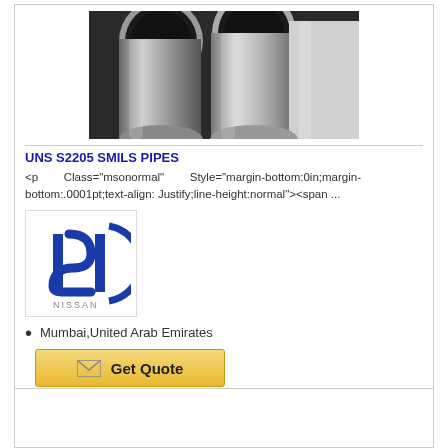[Figure (photo): Multiple shiny stainless steel pipes photographed from one end, showing circular openings, metallic surface.]
UNS S2205 SMILS PIPES
<p Class="msonormal" Style="margin-bottom:0in;margin-bottom:.0001pt;text-align: Justify;line-height:normal"><span ...
[Figure (logo): ISI logo with NISSAN text underneath, stylized blue letters ISI with a partial blue circle arc.]
Mumbai,United Arab Emirates
Get Quote